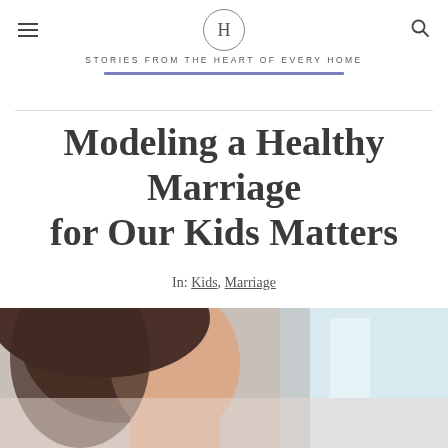STORIES FROM THE HEART OF EVERY HOME
Modeling a Healthy Marriage for Our Kids Matters
In: Kids, Marriage
[Figure (photo): Close-up photo of a woman with dark hair, blurred background with light interior colors, suggesting a domestic setting]